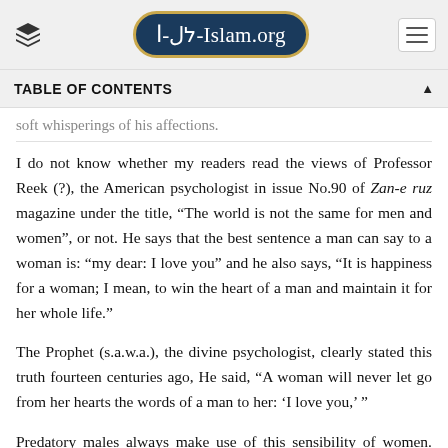Al-Islam.org
TABLE OF CONTENTS
soft whisperings of his affections.
I do not know whether my readers read the views of Professor Reek (?), the American psychologist in issue No.90 of Zan-e ruz magazine under the title, “The world is not the same for men and women”, or not. He says that the best sentence a man can say to a woman is: “my dear: I love you” and he also says, “It is happiness for a woman; I mean, to win the heart of a man and maintain it for her whole life.”
The Prophet (s.a.w.a.), the divine psychologist, clearly stated this truth fourteen centuries ago, He said, “A woman will never let go from her hearts the words of a man to her: ‘I love you,’ ”
Predatory males always make use of this sensibility of women. The trap of “My dear: I am dying from love of